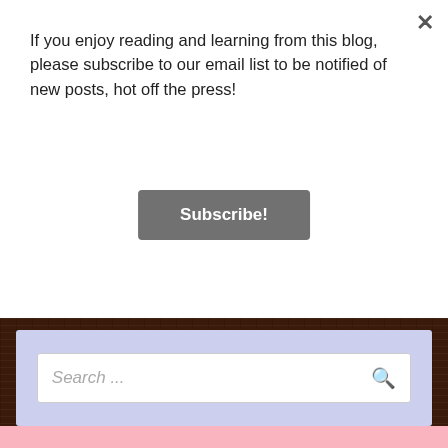If you enjoy reading and learning from this blog, please subscribe to our email list to be notified of new posts, hot off the press!
Subscribe!
[Figure (screenshot): Search bar widget with placeholder text 'Search ...' and a magnifying glass icon, on a lavender/light purple background]
[Figure (illustration): Snoopy comic strip on a pink background. Snoopy is typing on a typewriter on top of his doghouse. A speech bubble reads: I'M A GREAT ADMIRER OF MY OWN WRITING]